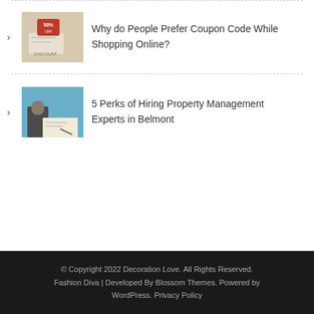Why do People Prefer Coupon Code While Shopping Online?
5 Perks of Hiring Property Management Experts in Belmont
© Copyright 2022 Decoration Love. All Rights Reserved. Fashion Diva | Developed By Blossom Themes. Powered by WordPress. Privacy Policy